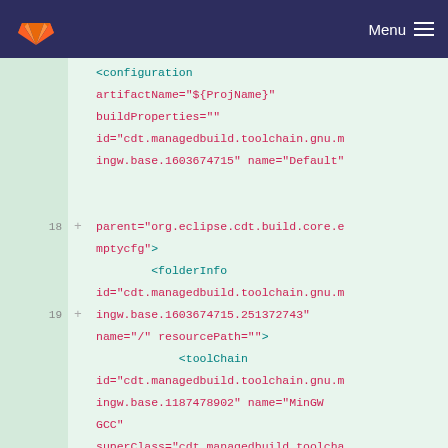Menu
<configuration artifactName="${ProjName}" buildProperties="" id="cdt.managedbuild.toolchain.gnu.mingw.base.1603674715" name="Default"

parent="org.eclipse.cdt.build.core.emptycfg">
18 + <folderInfo id="cdt.managedbuild.toolchain.gnu.mingw.base.1603674715.251372743" name="/" resourcePath="">
19 + <toolChain id="cdt.managedbuild.toolchain.gnu.mingw.base.1187478902" name="MinGW GCC" superClass="cdt.managedbuild.toolchain.gnu.mingw.base">